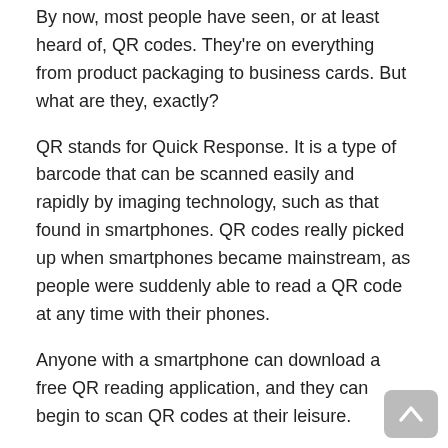By now, most people have seen, or at least heard of, QR codes. They're on everything from product packaging to business cards. But what are they, exactly?
QR stands for Quick Response. It is a type of barcode that can be scanned easily and rapidly by imaging technology, such as that found in smartphones. QR codes really picked up when smartphones became mainstream, as people were suddenly able to read a QR code at any time with their phones.
Anyone with a smartphone can download a free QR reading application, and they can begin to scan QR codes at their leisure.
What Do QR Codes Do?
What happens when a QR code is scanned?